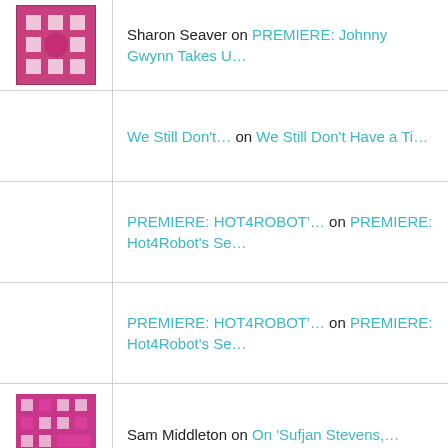Sharon Seaver on PREMIERE: Johnny Gwynn Takes U…
We Still Don't… on We Still Don't Have a Ti…
PREMIERE: HOT4ROBOT'… on PREMIERE: Hot4Robot's Se…
PREMIERE: HOT4ROBOT'… on PREMIERE: Hot4Robot's Se…
Sam Middleton on On 'Sufjan Stevens,…
ARCHIVES
Advertisements